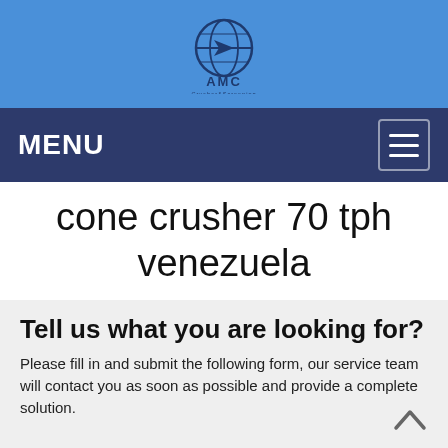[Figure (logo): AMC Crusher logo with globe icon and 'AMC' text in navy blue on a blue background header]
MENU
cone crusher 70 tph venezuela
Tell us what you are looking for?
Please fill in and submit the following form, our service team will contact you as soon as possible and provide a complete solution.